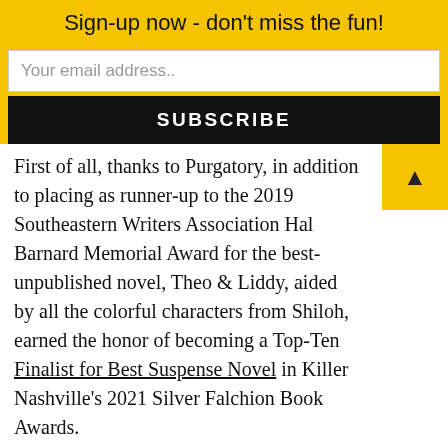Sign-up now - don't miss the fun!
Your email address..
SUBSCRIBE
First of all, thanks to Purgatory, in addition to placing as runner-up to the 2019 Southeastern Writers Association Hal Barnard Memorial Award for the best-unpublished novel, Theo & Liddy, aided by all the colorful characters from Shiloh, earned the honor of becoming a Top-Ten Finalist for Best Suspense Novel in Killer Nashville's 2021 Silver Falchion Book Awards.
[Figure (illustration): Silver award badge with laurel leaves reading 'Killer Nashville' with a city skyline logo in the center, partially visible at bottom of page.]